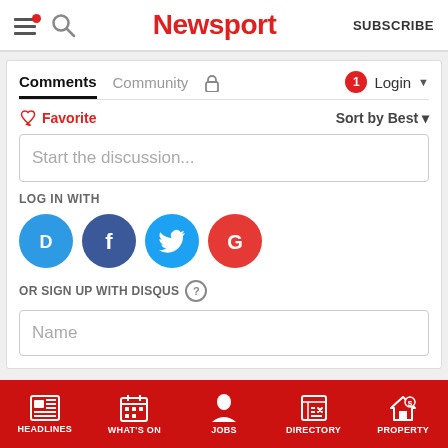Newsport — SUBSCRIBE
Comments | Community | Login
Favorite | Sort by Best
Start the discussion...
LOG IN WITH
[Figure (other): Social login icons: Disqus (blue circle with D), Facebook (dark blue circle with f), Twitter (light blue circle with bird), Google (red circle with G)]
OR SIGN UP WITH DISQUS
Name
HEADLINES | WHAT'S ON | JOBS | DIRECTORY | PROPERTY